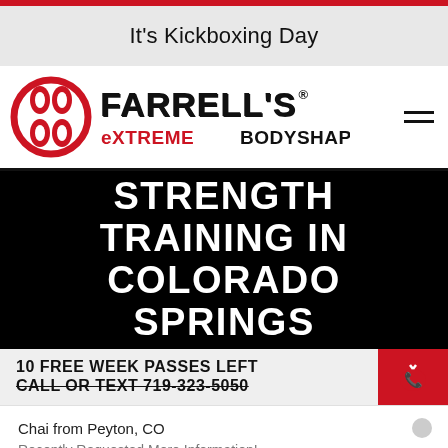It's Kickboxing Day
[Figure (logo): Farrell's eXtreme Bodyshaping logo with red stylized figure and bold black/red text]
STRENGTH TRAINING IN COLORADO SPRINGS
10 FREE WEEK PASSES LEFT
CALL OR TEXT 719-323-5050
Chai from Peyton, CO
Recently Requested More Information!
9 hours ago